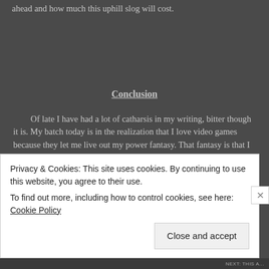ahead and how much this uphill slog will cost.
Conclusion
Of late I have had a lot of catharsis in my writing, bitter though it is. My batch today is in the realization that I love video games because they let me live out my power fantasy. That fantasy is that I alone, or with a small group of people, can change the world for the better even in the face of timeless evil.
	Real life doesn't work like that. There are no save points. No revivals. No do-overs. We can't reset the world to a pre-COVID state. Not in any way that
Privacy & Cookies: This site uses cookies. By continuing to use this website, you agree to their use.
To find out more, including how to control cookies, see here: Cookie Policy
Close and accept